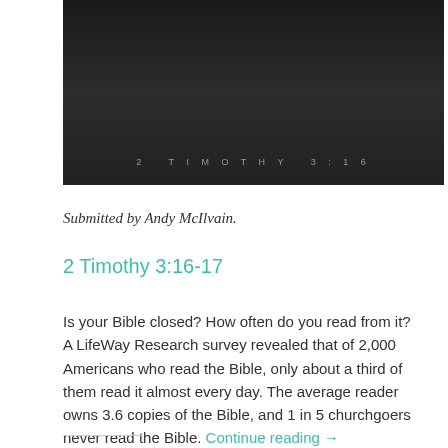[Figure (photo): Dark grey/black background image with faint text '2 TIMOTHY 3:16' in spaced capital letters centered in the lower portion of the image.]
Submitted by Andy McIlvain.
2 Timothy 3:16-17
Is your Bible closed? How often do you read from it? A LifeWay Research survey revealed that of 2,000 Americans who read the Bible, only about a third of them read it almost every day. The average reader owns 3.6 copies of the Bible, and 1 in 5 churchgoers never read the Bible. Continue reading →